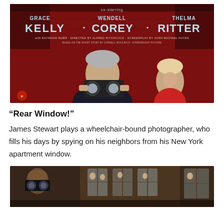[Figure (photo): Movie poster for Rear Window featuring Grace Kelly, Wendell Corey, Thelma Ritter, with Raymond Burr, directed by Alfred Hitchcock, screenplay by John Michael Hayes. Shows a man holding binoculars with a woman in red dress behind him, against a red brick background.]
“Rear Window!”
James Stewart plays a wheelchair-bound photographer, who fills his days by spying on his neighbors from his New York apartment window.
[Figure (photo): A film still from Rear Window showing a man with binoculars and an apartment courtyard scene.]